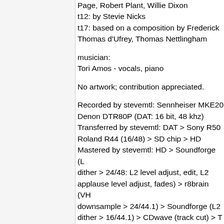Page, Robert Plant, Willie Dixon
t12: by Stevie Nicks
t17: based on a composition by Frederick Thomas d'Ufrey, Thomas Nettlingham
musician:
Tori Amos - vocals, piano
No artwork; contribution appreciated.
Recorded by stevemtl: Sennheiser MKE20 Denon DTR80P (DAT: 16 bit, 48 khz) Transferred by stevemtl: DAT > Sony R500 Roland R44 (16/48) > SD chip > HD Mastered by stevemtl: HD > Soundforge (L2 dither > 24/48: L2 level adjust, edit, L2 applause level adjust, fades) > r8brain (VHQ downsample > 24/44.1) > Soundforge (L2 dither > 16/44.1) > CDwave (track cut) > T (flac level 6, ffp, md5) > TLH (torrent mark Circulated by stevemtl: torrent marker uplo to DIME on 2020-09-04
Support Tori Amos by purchasing official releases and merchandise and attending g should we be so fortunate as to have such